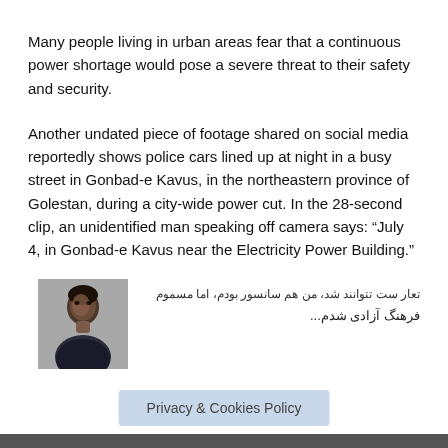Many people living in urban areas fear that a continuous power shortage would pose a severe threat to their safety and security.
Another undated piece of footage shared on social media reportedly shows police cars lined up at night in a busy street in Gonbad-e Kavus, in the northeastern province of Golestan, during a city-wide power cut. In the 28-second clip, an unidentified man speaking off camera says: “July 4, in Gonbad-e Kavus near the Electricity Power Building.”
[Figure (photo): Photo of a woman (headshot/profile photo)]
فرهنگ آزادی شدم...
Privacy & Cookies Policy